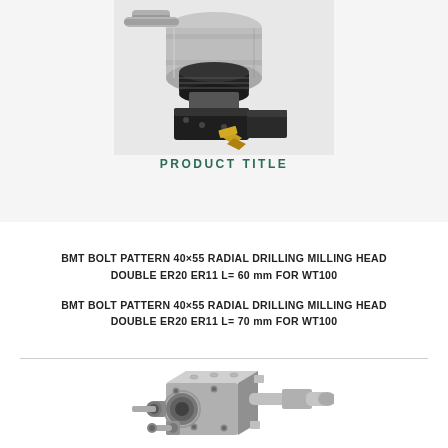[Figure (photo): Radial drilling milling head tool with double ER collet chuck, shown at an angle. Dark metallic body with gold/brass cutting insert visible at the tip.]
PRODUCT TITLE
BMT BOLT PATTERN 40×55 RADIAL DRILLING MILLING HEAD DOUBLE ER20 ER11 L= 60 mm FOR WT100
BMT BOLT PATTERN 40×55 RADIAL DRILLING MILLING HEAD DOUBLE ER20 ER11 L= 70 mm FOR WT100
[Figure (engineering-diagram): Technical illustration of a radial drilling milling head tool unit with double spindle/collet arrangement, shown in 3D isometric perspective view. Gray machined body with visible bore holes, collet nuts and shank.]